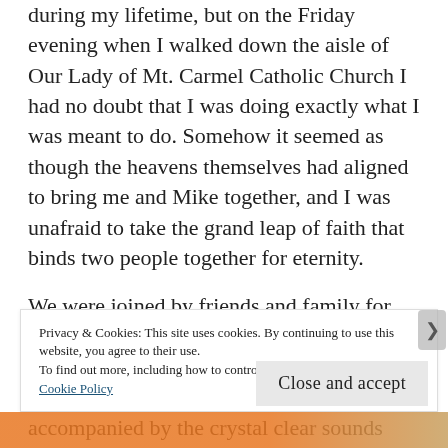during my lifetime, but on the Friday evening when I walked down the aisle of Our Lady of Mt. Carmel Catholic Church I had no doubt that I was doing exactly what I was meant to do. Somehow it seemed as though the heavens themselves had aligned to bring me and Mike together, and I was unafraid to take the grand leap of faith that binds two people together for eternity.
We were joined by friends and family for our celebration. The church was gloriously bathed in light as Mike stood at the front of the church. The organ began to boom accompanied by the crystal clear sounds
Privacy & Cookies: This site uses cookies. By continuing to use this website, you agree to their use.
To find out more, including how to control cookies, see here:
Cookie Policy
Close and accept